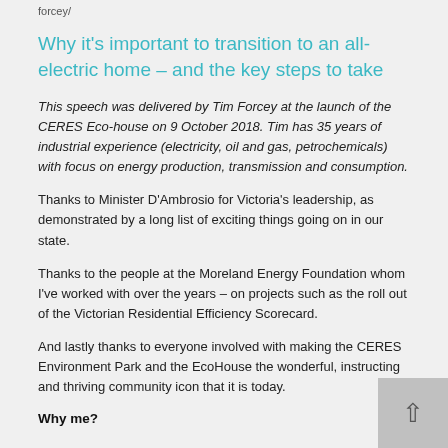forcey/
Why it's important to transition to an all-electric home – and the key steps to take
This speech was delivered by Tim Forcey at the launch of the CERES Eco-house on 9 October 2018. Tim has 35 years of industrial experience (electricity, oil and gas, petrochemicals) with focus on energy production, transmission and consumption.
Thanks to Minister D'Ambrosio for Victoria's leadership, as demonstrated by a long list of exciting things going on in our state.
Thanks to the people at the Moreland Energy Foundation whom I've worked with over the years – on projects such as the roll out of the Victorian Residential Efficiency Scorecard.
And lastly thanks to everyone involved with making the CERES Environment Park and the EcoHouse the wonderful, instructing and thriving community icon that it is today.
Why me?